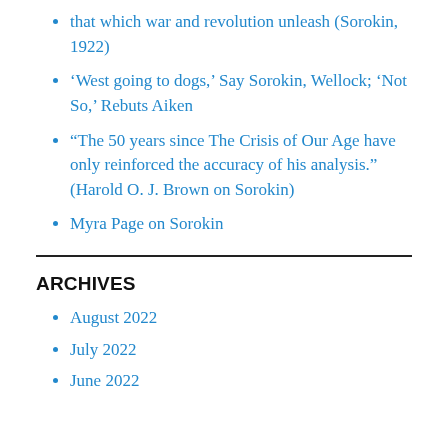that which war and revolution unleash (Sorokin, 1922)
‘West going to dogs,’ Say Sorokin, Wellock; ‘Not So,’ Rebuts Aiken
“The 50 years since The Crisis of Our Age have only reinforced the accuracy of his analysis.” (Harold O. J. Brown on Sorokin)
Myra Page on Sorokin
ARCHIVES
August 2022
July 2022
June 2022